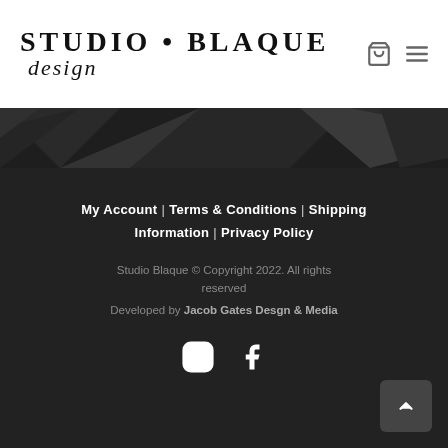[Figure (logo): Studio Blaque Design logo with bold uppercase serif text 'STUDIO · BLAQUE' and scripted 'design' underneath]
[Figure (photo): Dark geometric polygon abstract background image strip]
My Account | Terms & Conditions | Shipping Information | Privacy Policy
Studio Blaque © Copyright 2022. All rights reserved
Developed by Jacob Gates Desgn & Media
[Figure (illustration): Instagram and Facebook social media icons in white]
[Figure (other): Back to top chevron button, dark gray rounded rectangle]